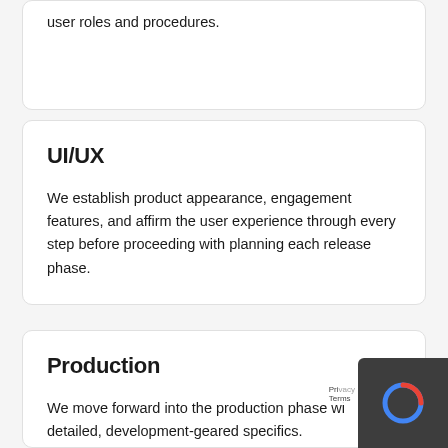user roles and procedures.
UI/UX
We establish product appearance, engagement features, and affirm the user experience through every step before proceeding with planning each release phase.
Production
We move forward into the production phase wi detailed, development-geared specifics.